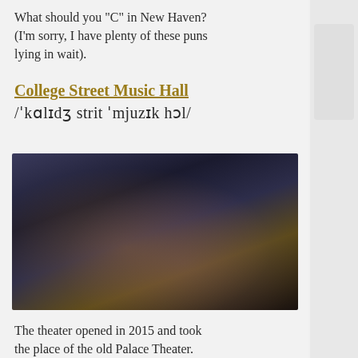What should you "C" in New Haven? (I'm sorry, I have plenty of these puns lying in wait).
College Street Music Hall
/ˈkɑlɪdʒ strit ˈmjuzɪk hɔl/
[Figure (photo): Dark interior photograph of College Street Music Hall showing a dimly lit venue with warm amber and purple ambient lighting.]
The theater opened in 2015 and took the place of the old Palace Theater.